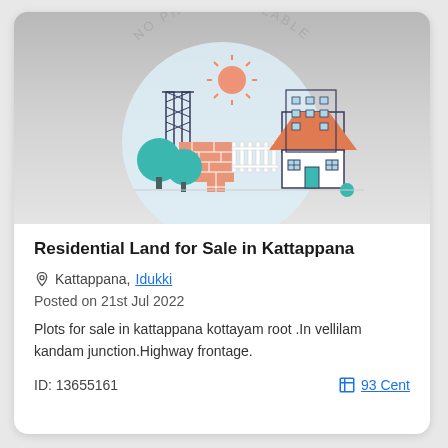[Figure (illustration): No photo available placeholder image showing a cartoon real-estate scene with houses, trees, bricks, and construction elements on a light blue circular background. Curved text 'NO PHOTO AVAILABLE' arcs over the top.]
Residential Land for Sale in Kattappana
Kattappana, Idukki
Posted on 21st Jul 2022
Plots for sale in kattappana kottayam root .In vellilam kandam junction.Highway frontage.
ID: 13655161
93 Cent